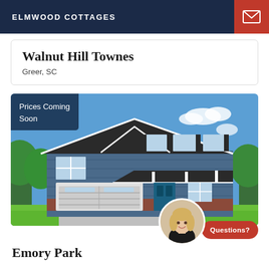ELMWOOD COTTAGES
Walnut Hill Townes
Greer, SC
[Figure (photo): Exterior photo of a two-story blue craftsman-style home with white trim, two-car garage, and front porch. A 'Prices Coming Soon' overlay appears in the upper left corner.]
Prices Coming Soon
Emory Park
Questions?